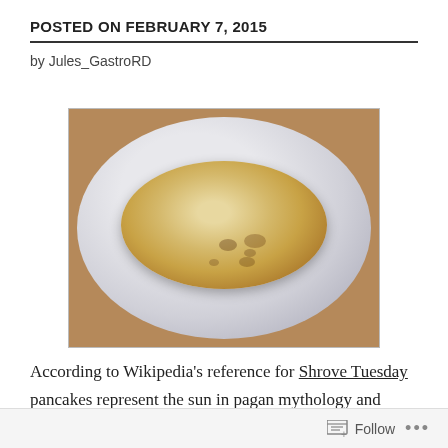POSTED ON FEBRUARY 7, 2015
by Jules_GastroRD
[Figure (photo): A stack of thin crepes/pancakes on a white decorative plate, placed on a wooden table.]
According to Wikipedia's reference for Shrove Tuesday pancakes represent the sun in pagan mythology and